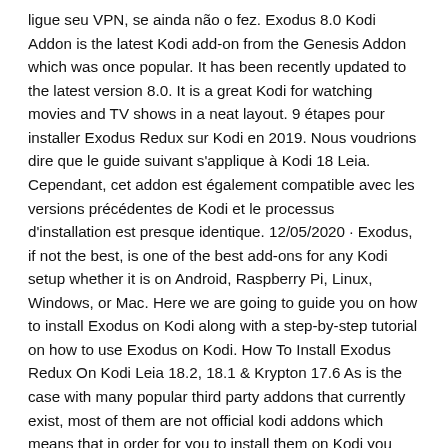ligue seu VPN, se ainda não o fez. Exodus 8.0 Kodi Addon is the latest Kodi add-on from the Genesis Addon which was once popular. It has been recently updated to the latest version 8.0. It is a great Kodi for watching movies and TV shows in a neat layout. 9 étapes pour installer Exodus Redux sur Kodi en 2019. Nous voudrions dire que le guide suivant s'applique à Kodi 18 Leia. Cependant, cet addon est également compatible avec les versions précédentes de Kodi et le processus d'installation est presque identique. 12/05/2020 · Exodus, if not the best, is one of the best add-ons for any Kodi setup whether it is on Android, Raspberry Pi, Linux, Windows, or Mac. Here we are going to guide you on how to install Exodus on Kodi along with a step-by-step tutorial on how to use Exodus on Kodi. How To Install Exodus Redux On Kodi Leia 18.2, 18.1 & Krypton 17.6 As is the case with many popular third party addons that currently exist, most of them are not official kodi addons which means that in order for you to install them on Kodi you need to change some settings in your Kodi.